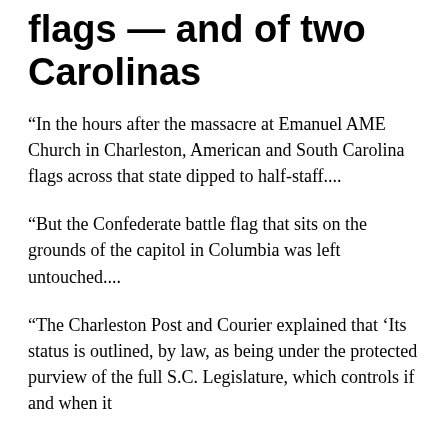flags — and of two Carolinas
“In the hours after the massacre at Emanuel AME Church in Charleston, American and South Carolina flags across that state dipped to half-staff....
“But the Confederate battle flag that sits on the grounds of the capitol in Columbia was left untouched....
“The Charleston Post and Courier explained that ‘Its status is outlined, by law, as being under the protected purview of the full S.C. Legislature, which controls if and when it